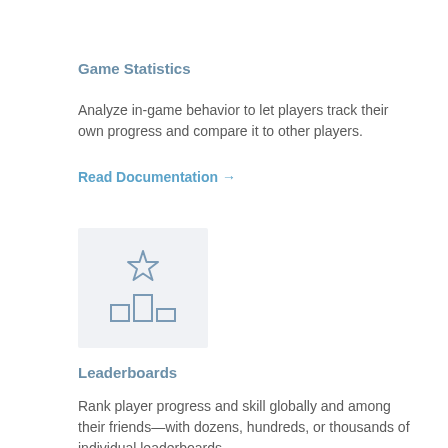Game Statistics
Analyze in-game behavior to let players track their own progress and compare it to other players.
Read Documentation →
[Figure (illustration): Icon of a leaderboard podium with a star above it on a light gray background]
Leaderboards
Rank player progress and skill globally and among their friends—with dozens, hundreds, or thousands of individual leaderboards.
Read Documentation →